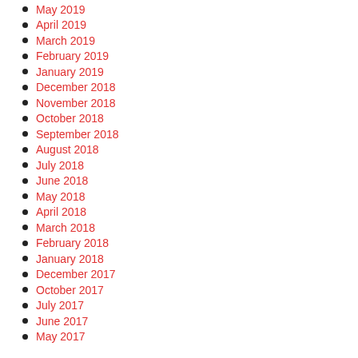May 2019
April 2019
March 2019
February 2019
January 2019
December 2018
November 2018
October 2018
September 2018
August 2018
July 2018
June 2018
May 2018
April 2018
March 2018
February 2018
January 2018
December 2017
October 2017
July 2017
June 2017
May 2017